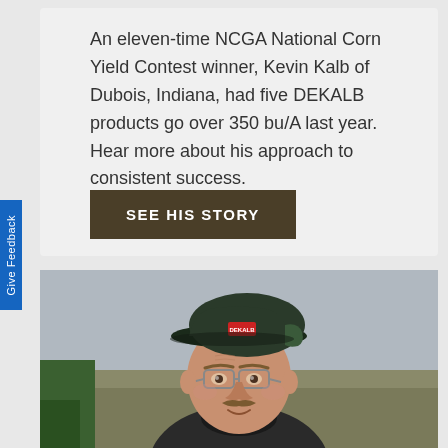An eleven-time NCGA National Corn Yield Contest winner, Kevin Kalb of Dubois, Indiana, had five DEKALB products go over 350 bu/A last year. Hear more about his approach to consistent success.
SEE HIS STORY
Give Feedback
[Figure (photo): Portrait photo of Kevin Kalb, a middle-aged man wearing a green and black DEKALB branded baseball cap, glasses, and a dark jacket. He is smiling slightly with a mustache, photographed outdoors with a blurred agricultural field background.]